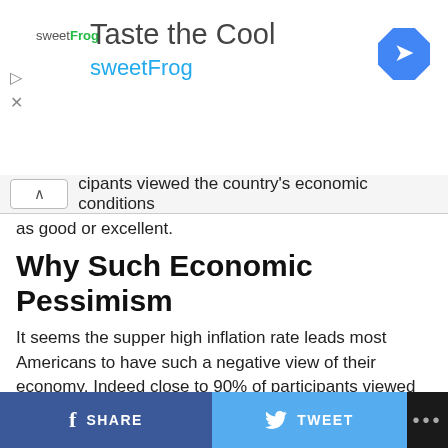[Figure (other): Advertisement banner for sweetFrog frozen yogurt: 'Taste the Cool / sweetFrog' with logo and navigation icon]
ipants viewed the country's economic conditions as good or excellent.
Why Such Economic Pessimism
It seems the supper high inflation rate leads most Americans to have such a negative view of their economy. Indeed close to 90% of participants viewed food and gas prices as higher than last year, 89 and 88 82 percent respectively.
Is Inflation Always Bad?
SHARE   TWEET   ...